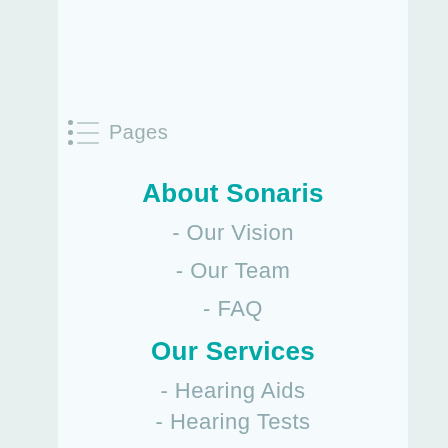Pages
About Sonaris
- Our Vision
- Our Team
- FAQ
Our Services
- Hearing Aids
- Hearing Tests
- APD Testing & Counselling
- Tinnitus Retraining Therapy